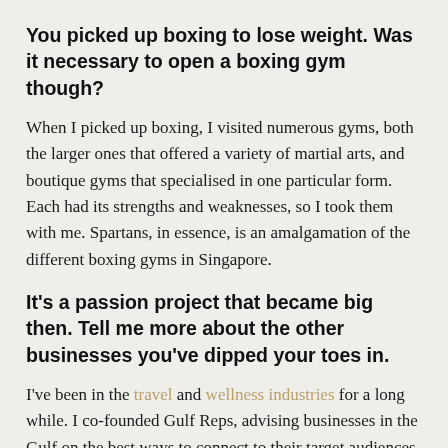You picked up boxing to lose weight. Was it necessary to open a boxing gym though?
When I picked up boxing, I visited numerous gyms, both the larger ones that offered a variety of martial arts, and boutique gyms that specialised in one particular form. Each had its strengths and weaknesses, so I took them with me. Spartans, in essence, is an amalgamation of the different boxing gyms in Singapore.
It's a passion project that became big then. Tell me more about the other businesses you've dipped your toes in.
I've been in the travel and wellness industries for a long while. I co-founded Gulf Reps, advising businesses in the Gulf on the best ways to connect to their target audiences. I'm also a director at MAF Fitness, it helps athletes and those looking to be fit reach their full potential based on a three-step method devised by Dr Philip Maffetone.